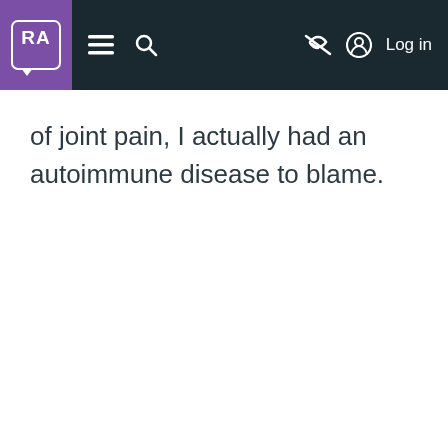RA [logo] [hamburger menu] [search] [hide icon] [account] Log in
of joint pain, I actually had an autoimmune disease to blame.